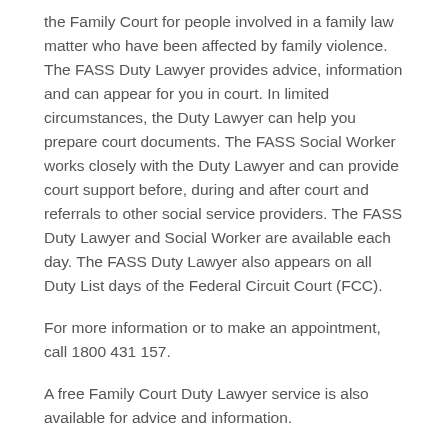the Family Court for people involved in a family law matter who have been affected by family violence. The FASS Duty Lawyer provides advice, information and can appear for you in court. In limited circumstances, the Duty Lawyer can help you prepare court documents. The FASS Social Worker works closely with the Duty Lawyer and can provide court support before, during and after court and referrals to other social service providers. The FASS Duty Lawyer and Social Worker are available each day. The FASS Duty Lawyer also appears on all Duty List days of the Federal Circuit Court (FCC).
For more information or to make an appointment, call 1800 431 157.
A free Family Court Duty Lawyer service is also available for advice and information.
Community Legal Education and Information